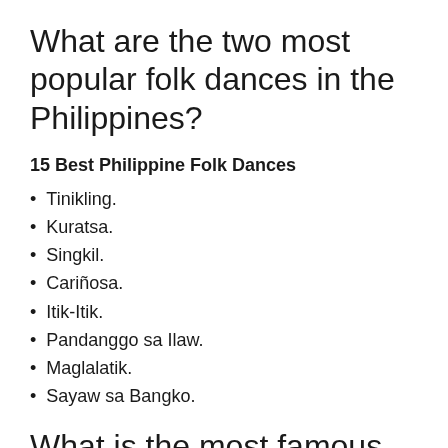What are the two most popular folk dances in the Philippines?
15 Best Philippine Folk Dances
Tinikling.
Kuratsa.
Singkil.
Cariñosa.
Itik-Itik.
Pandanggo sa Ilaw.
Maglalatik.
Sayaw sa Bangko.
What is the most famous